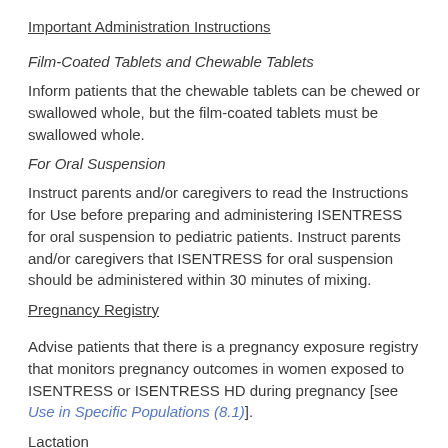Important Administration Instructions
Film-Coated Tablets and Chewable Tablets
Inform patients that the chewable tablets can be chewed or swallowed whole, but the film-coated tablets must be swallowed whole.
For Oral Suspension
Instruct parents and/or caregivers to read the Instructions for Use before preparing and administering ISENTRESS for oral suspension to pediatric patients. Instruct parents and/or caregivers that ISENTRESS for oral suspension should be administered within 30 minutes of mixing.
Pregnancy Registry
Advise patients that there is a pregnancy exposure registry that monitors pregnancy outcomes in women exposed to ISENTRESS or ISENTRESS HD during pregnancy [see Use in Specific Populations (8.1)].
Lactation
Instruct women with HIV-1 infection not to breastfeed